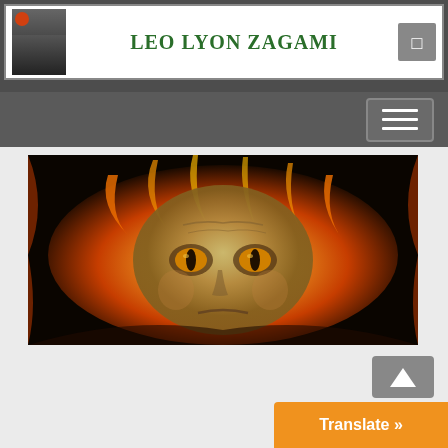LEO LYON ZAGAMI
[Figure (photo): A dramatic edited photo of an elderly man's face surrounded by fire and flames, with stylized cat/reptile eyes, giving a supernatural demonic appearance.]
[Figure (screenshot): Translate button in orange at bottom right corner with text 'Translate »']